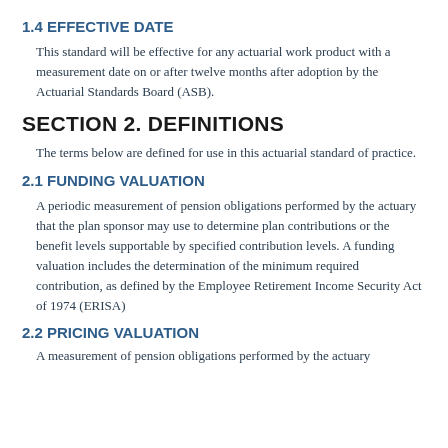1.4 EFFECTIVE DATE
This standard will be effective for any actuarial work product with a measurement date on or after twelve months after adoption by the Actuarial Standards Board (ASB).
SECTION 2. DEFINITIONS
The terms below are defined for use in this actuarial standard of practice.
2.1 FUNDING VALUATION
A periodic measurement of pension obligations performed by the actuary that the plan sponsor may use to determine plan contributions or the benefit levels supportable by specified contribution levels. A funding valuation includes the determination of the minimum required contribution, as defined by the Employee Retirement Income Security Act of 1974 (ERISA)
2.2 PRICING VALUATION
A measurement of pension obligations performed by the actuary